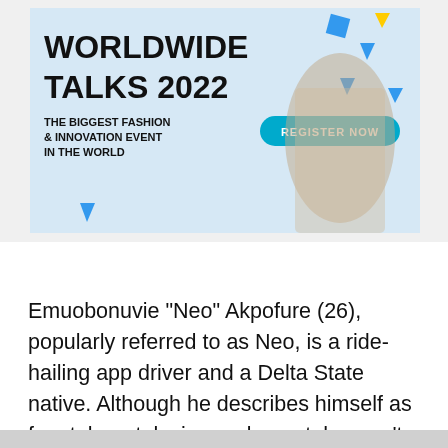[Figure (illustration): Advertisement banner for Worldwide Talks 2022 – The Biggest Fashion & Innovation Event in the World, with a Register Now button, decorative geometric shapes, and a photo of a fashion model.]
Emuobonuvie “Neo” Akpofure (26), popularly referred to as Neo, is a ride-hailing app driver and a Delta State native. Although he describes himself as fun, tolerant, loving and smart, he won’t hesitate to be Indaboski Bahose when it involves issues concerning bullying and inequality.
Kaisha
[Figure (photo): Partial portrait photo of a woman with straight dark hair, cropped at the bottom of the page.]